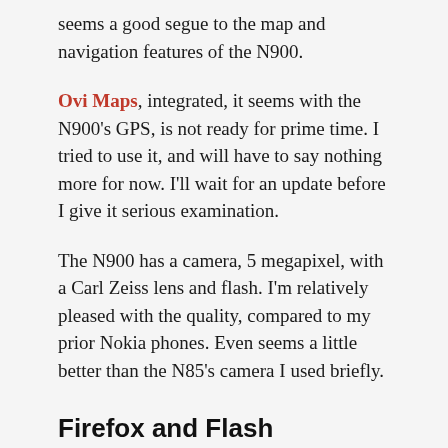seems a good segue to the map and navigation features of the N900.
Ovi Maps, integrated, it seems with the N900's GPS, is not ready for prime time. I tried to use it, and will have to say nothing more for now. I'll wait for an update before I give it serious examination.
The N900 has a camera, 5 megapixel, with a Carl Zeiss lens and flash. I'm relatively pleased with the quality, compared to my prior Nokia phones. Even seems a little better than the N85's camera I used briefly.
Firefox and Flash
Web browsing is via Firefox. Not a bad experience, but only landscape mode is enabled. However, you